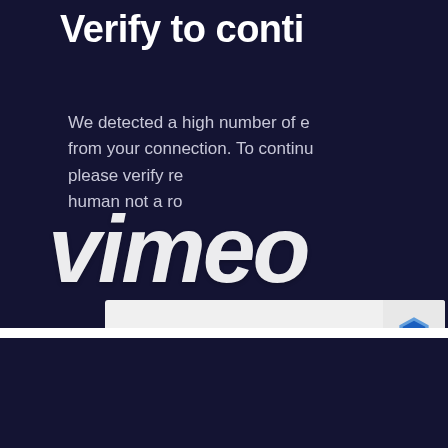Verify to conti
We detected a high number of e
from your connection. To continu
please verify re
human not a ro
[Figure (logo): Vimeo logo watermark overlaid on text area]
[Figure (screenshot): reCAPTCHA checkbox widget: checkbox and 'I'm not a robot' label with reCAPTCHA logo and Privacy text]
Verify to conti
We detected a high number of e